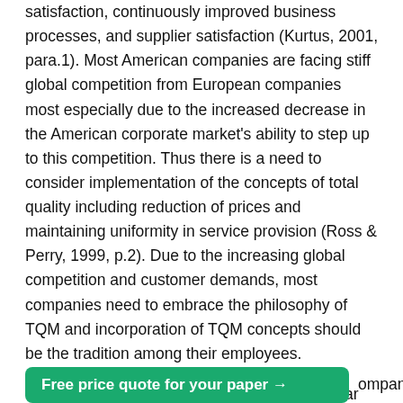satisfaction, continuously improved business processes, and supplier satisfaction (Kurtus, 2001, para.1). Most American companies are facing stiff global competition from European companies most especially due to the increased decrease in the American corporate market's ability to step up to this competition. Thus there is a need to consider implementation of the concepts of total quality including reduction of prices and maintaining uniformity in service provision (Ross & Perry, 1999, p.2). Due to the increasing global competition and customer demands, most companies need to embrace the philosophy of TQM and incorporation of TQM concepts should be the tradition among their employees.
The practice of total quality is becoming popular with most service companies mainly due to the management's realization that this is the only way out to maintaining a powerful customer base. Implementation of the principles of ompany
Free price quote for your paper →